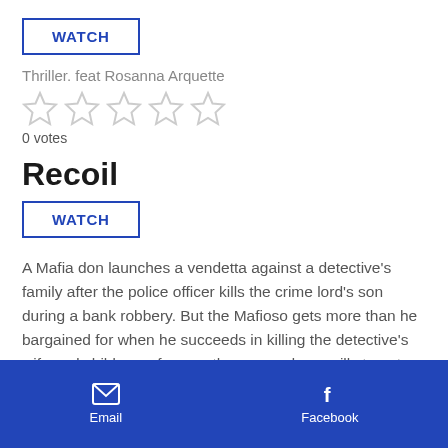WATCH
Thriller. feat Rosanna Arquette
[Figure (other): 5 empty star rating widgets]
0 votes
Recoil
WATCH
A Mafia don launches a vendetta against a detective's family after the police officer kills the crime lord's son during a bank robbery. But the Mafioso gets more than he bargained for when he succeeds in killing the detective's wife and children -- for now the enraged cop will stop at nothing in his bloody quest for revenge.
[Figure (other): 5 empty star rating widgets]
Email   Facebook